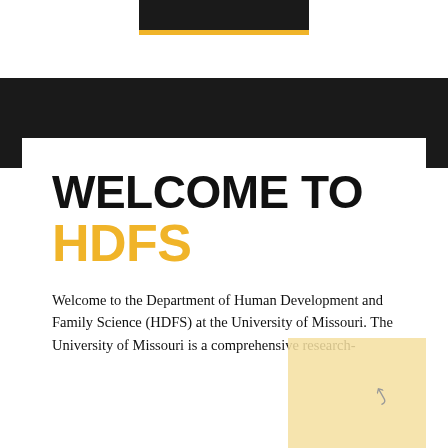[Figure (logo): University logo bar — dark rectangle with gold underline at top of page]
WELCOME TO HDFS
Welcome to the Department of Human Development and Family Science (HDFS) at the University of Missouri. The University of Missouri is a comprehensive research-